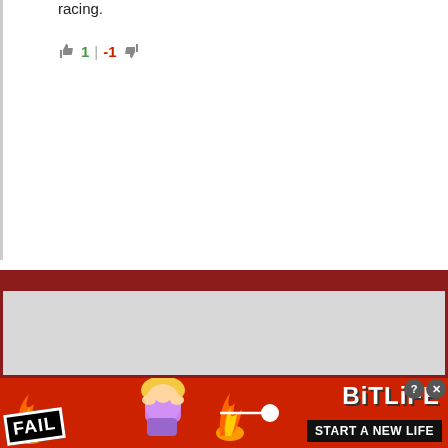racing.
1 | -1
[Figure (screenshot): Advertisement banner for BitLife game showing FAIL badge, animated character, flames, sperm icon, BitLife logo and START A NEW LIFE text on red background]